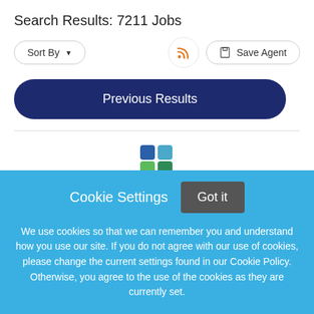Search Results: 7211 Jobs
Sort By ▼
Save Agent
Previous Results
[Figure (logo): Four colored squares logo — two blue squares on top, one teal and one dark green square on bottom]
Cookie Settings   Got it
We use cookies so that we can remember you and understand how you use our site. If you do not agree with our use of cookies, please change the current settings found in our Cookie Policy. Otherwise, you agree to the use of the cookies as they are currently set.